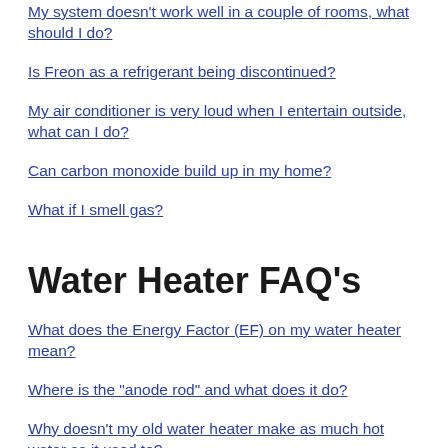My system doesn't work well in a couple of rooms, what should I do?
Is Freon as a refrigerant being discontinued?
My air conditioner is very loud when I entertain outside, what can I do?
Can carbon monoxide build up in my home?
What if I smell gas?
Water Heater FAQ's
What does the Energy Factor (EF) on my water heater mean?
Where is the "anode rod" and what does it do?
Why doesn't my old water heater make as much hot water as it used to?